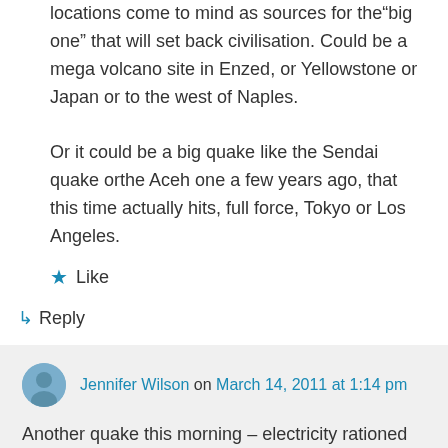locations come to mind as sources for the“big one” that will set back civilisation. Could be a mega volcano site in Enzed, or Yellowstone or Japan or to the west of Naples. Or it could be a big quake like the Sendai quake orthe Aceh one a few years ago, that this time actually hits, full force, Tokyo or Los Angeles.
★ Like
↳ Reply
Jennifer Wilson on March 14, 2011 at 1:14 pm
Another quake this morning – electricity rationed now, so may not hear much from them for a while.